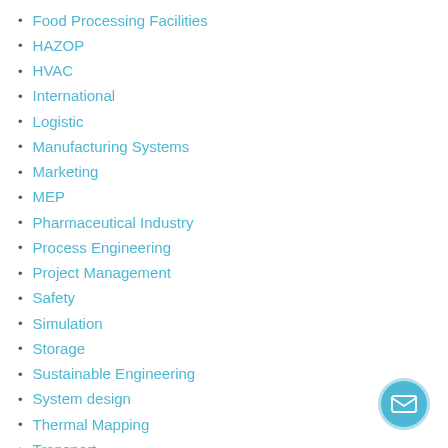Food Processing Facilities
HAZOP
HVAC
International
Logistic
Manufacturing Systems
Marketing
MEP
Pharmaceutical Industry
Process Engineering
Project Management
Safety
Simulation
Storage
Sustainable Engineering
System design
Thermal Mapping
Transport
Utility Optimization
Warehouse
[Figure (illustration): Circular email/contact button with envelope icon, teal background]